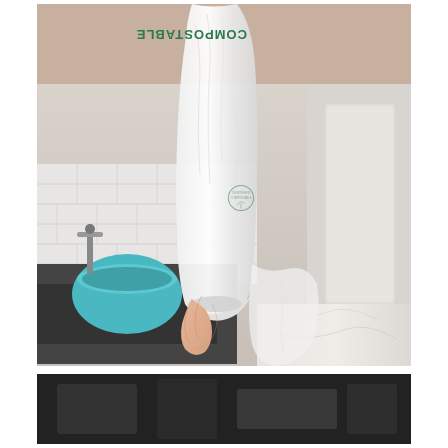[Figure (photo): A hand holding up a white compostable plastic bag in a kitchen setting. The bag has 'COMPOSTABLE' printed vertically in green text along the side, along with a small certification logo. The background shows a kitchen counter with a teal/turquoise bowl, a sink with faucet, white subway tile backsplash, and what appears to be a marble countertop. The bag appears twisted/tied at the bottom where it is being held.]
[Figure (photo): Partial view of another photo at the bottom of the page, showing a dark background scene, partially visible.]